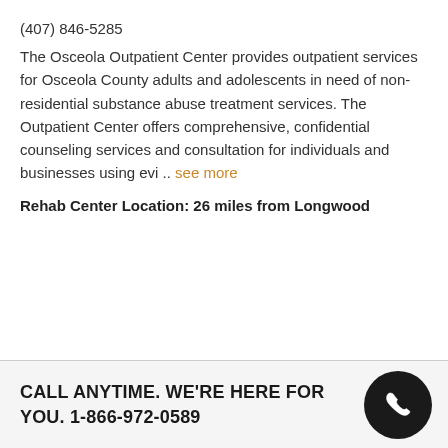(407) 846-5285
The Osceola Outpatient Center provides outpatient services for Osceola County adults and adolescents in need of non-residential substance abuse treatment services. The Outpatient Center offers comprehensive, confidential counseling services and consultation for individuals and businesses using evi .. see more
Rehab Center Location: 26 miles from Longwood
CALL ANYTIME. WE'RE HERE FOR YOU. 1-866-972-0589